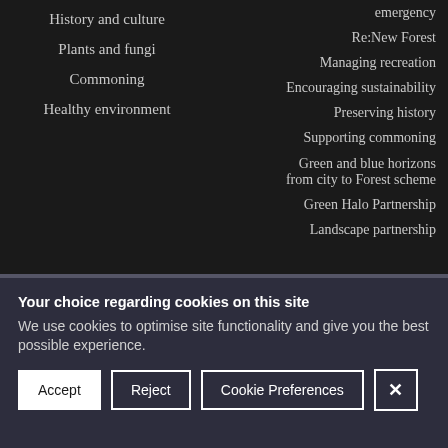History and culture
Plants and fungi
Commoning
Healthy environment
emergency
Re:New Forest
Managing recreation
Encouraging sustainability
Preserving history
Supporting commoning
Green and blue horizons from city to Forest scheme
Green Halo Partnership
Landscape partnership
Your choice regarding cookies on this site
We use cookies to optimise site functionality and give you the best possible experience.
Accept | Reject | Cookie Preferences | X